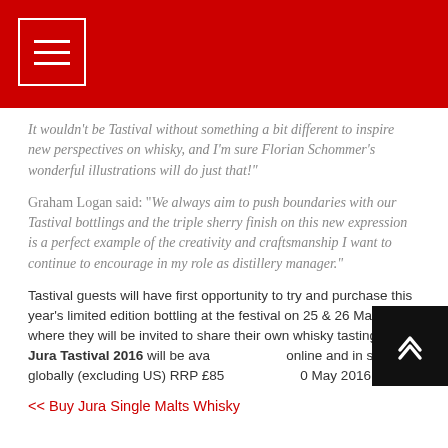It wouldn’t be Tastival without something a bit different to inspire new perspectives on whisky, and I’m sure Florian Schommer’s wonderful illustrations will do just that!”
Graham Logan said: “We always aim to push boundaries with our Tastival bottlings and the triple sherry finish on this new expression is a perfect example of the creativity and craftsmanship I want to continue to encourage in my role as distillery manager.”
Tastival guests will have first opportunity to try and purchase this year’s limited edition bottling at the festival on 25 & 26 May, where they will be invited to share their own whisky tasting notes. Jura Tastival 2016 will be available online and in shops globally (excluding US) RRP £85 from 30 May 2016.
<< Buy Jura Single Malts Whisky